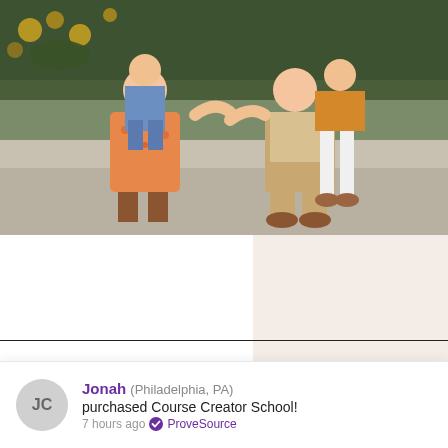[Figure (photo): Family photo showing adults and children sitting on a concrete ledge outdoors with greenery and flowers in the background. Woman in floral orange dress and boots, man in khaki pants, children in jeans and colorful clothes.]
Hey! I'm Gemma
Jonah (Philadelphia, PA) purchased Course Creator School! 7 hours ago ✓ ProveSource